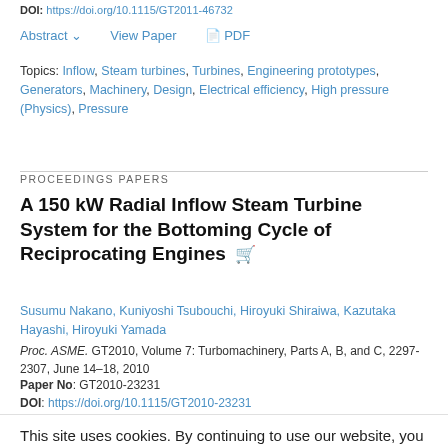DOI: https://doi.org/10.1115/GT2011-46732
Abstract  View Paper  PDF
Topics: Inflow, Steam turbines, Turbines, Engineering prototypes, Generators, Machinery, Design, Electrical efficiency, High pressure (Physics), Pressure
PROCEEDINGS PAPERS
A 150 kW Radial Inflow Steam Turbine System for the Bottoming Cycle of Reciprocating Engines
Susumu Nakano, Kuniyoshi Tsubouchi, Hiroyuki Shiraiwa, Kazutaka Hayashi, Hiroyuki Yamada
Proc. ASME. GT2010, Volume 7: Turbomachinery, Parts A, B, and C, 2297-2307, June 14–18, 2010
Paper No: GT2010-23231
DOI: https://doi.org/10.1115/GT2010-23231
This site uses cookies. By continuing to use our website, you are agreeing to our privacy policy. Accept